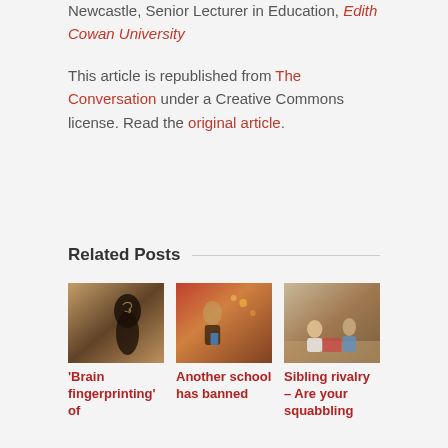Newcastle, Senior Lecturer in Education, Edith Cowan University
This article is republished from The Conversation under a Creative Commons license. Read the original article.
Related Posts
[Figure (photo): Sepia silhouette of a child's head with a brain illustration inside, against a landscape background]
'Brain fingerprinting' of
[Figure (photo): Young child looking at a smartphone or tablet screen]
Another school has banned
[Figure (photo): Two children sitting on a wooden floor playing together]
Sibling rivalry – Are your squabbling